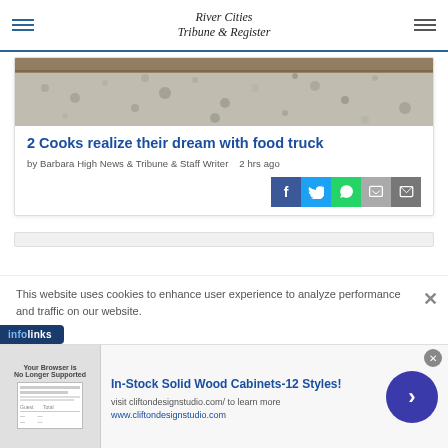River Cities Tribune & Register
[Figure (photo): Close-up photo of gravel or crushed stone surface with a wooden board visible at the top edge]
2 Cooks realize their dream with food truck
by Barbara High News & Tribune & Staff Writer   2 hrs ago
Social share buttons: Facebook, Twitter, WhatsApp, Chat, Email
This website uses cookies to enhance user experience to analyze performance and traffic on our website.
[Figure (logo): infolinks badge logo]
[Figure (screenshot): Advertisement: In-Stock Solid Wood Cabinets-12 Styles! visit cliftondesignstudio.com/ to learn more www.cliftondesignstudio.com]